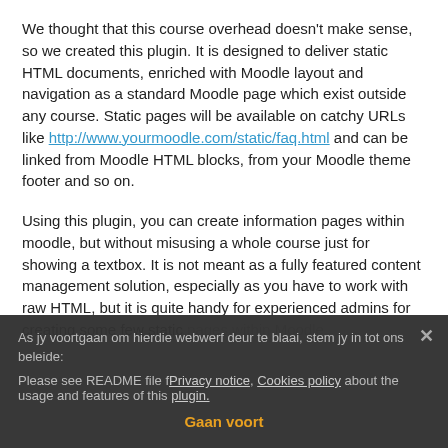We thought that this course overhead doesn't make sense, so we created this plugin. It is designed to deliver static HTML documents, enriched with Moodle layout and navigation as a standard Moodle page which exist outside any course. Static pages will be available on catchy URLs like http://www.yourmoodle.com/static/faq.html and can be linked from Moodle HTML blocks, from your Moodle theme footer and so on.
Using this plugin, you can create information pages within moodle, but without misusing a whole course just for showing a textbox. It is not meant as a fully featured content management solution, especially as you have to work with raw HTML, but it is quite handy for experienced admins for creating some few static pages within Moodle.
Please see README file for more details about the usage and features of this plugin.
As jy voortgaan om hierdie webwerf deur te blaai, stem jy in tot ons beleide: Privacy notice, Cookies policy
Gaan voort